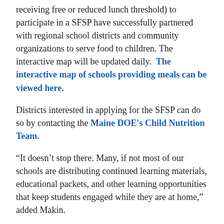receiving free or reduced lunch threshold) to participate in a SFSP have successfully partnered with regional school districts and community organizations to serve food to children. The interactive map will be updated daily.  The interactive map of schools providing meals can be viewed here.
Districts interested in applying for the SFSP can do so by contacting the Maine DOE's Child Nutrition Team.
“It doesn’t stop there. Many, if not most of our schools are distributing continued learning materials, educational packets, and other learning opportunities that keep students engaged while they are at home,” added Makin.
The Maine DOE has been scheduling and